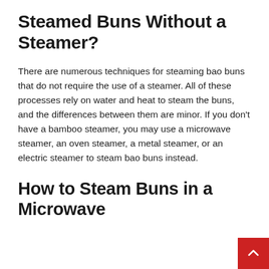Steamed Buns Without a Steamer?
There are numerous techniques for steaming bao buns that do not require the use of a steamer. All of these processes rely on water and heat to steam the buns, and the differences between them are minor. If you don't have a bamboo steamer, you may use a microwave steamer, an oven steamer, a metal steamer, or an electric steamer to steam bao buns instead.
How to Steam Buns in a Microwave